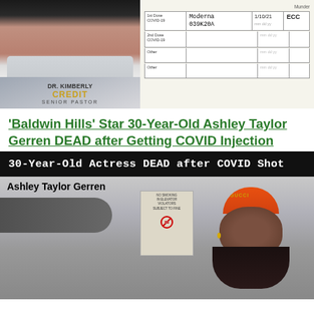[Figure (photo): Photo of Dr. Kimberly Credit, Senior Pastor, a woman in professional attire, with overlaid text showing her name and title]
[Figure (photo): Photo of a COVID-19 vaccination card showing Moderna vaccine, lot number 039K20A, date 1/10/21, and site ECC]
‘Baldwin Hills’ Star 30-Year-Old Ashley Taylor Gerren DEAD after Getting COVID Injection
30-Year-Old Actress DEAD after COVID Shot
[Figure (photo): Photo of Ashley Taylor Gerren wearing an orange Gucci cap, taking a selfie]